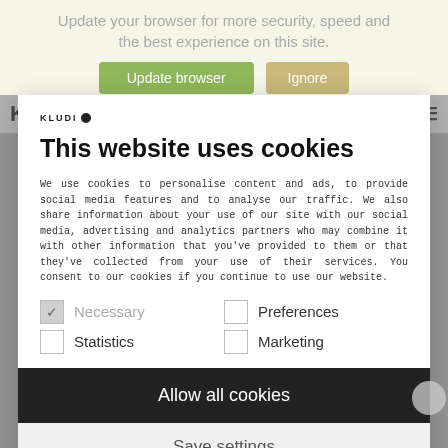Update your browser for more security, speed and the best experience on this site.
[Figure (screenshot): Two buttons: green 'Update browser' and tan 'Ignore']
[Figure (screenshot): Kludi logo mark at top of cookie consent modal]
This website uses cookies
We use cookies to personalise content and ads, to provide social media features and to analyse our traffic. We also share information about your use of our site with our social media, advertising and analytics partners who may combine it with other information that you've provided to them or that they've collected from your use of their services. You consent to our cookies if you continue to use our website.
Necessary  Preferences  Statistics  Marketing
Allow all cookies
Save settings